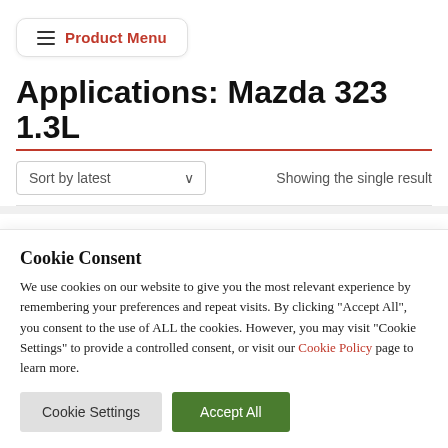≡ Product Menu
Applications: Mazda 323 1.3L
Sort by latest    Showing the single result
Cookie Consent
We use cookies on our website to give you the most relevant experience by remembering your preferences and repeat visits. By clicking "Accept All", you consent to the use of ALL the cookies. However, you may visit "Cookie Settings" to provide a controlled consent, or visit our Cookie Policy page to learn more.
Cookie Settings   Accept All